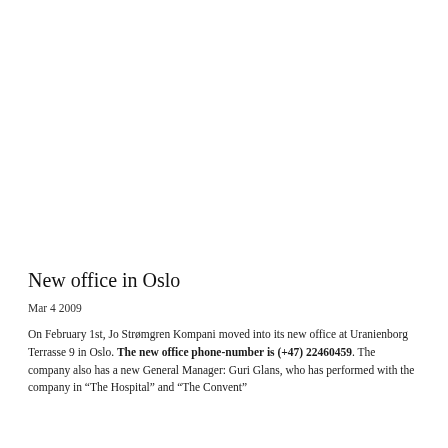New office in Oslo
Mar 4 2009
On February 1st, Jo Strømgren Kompani moved into its new office at Uranienborg Terrasse 9 in Oslo. The new office phone-number is (+47) 22460459. The company also has a new General Manager: Guri Glans, who has performed with the company in “The Hospital” and “The Convent”.